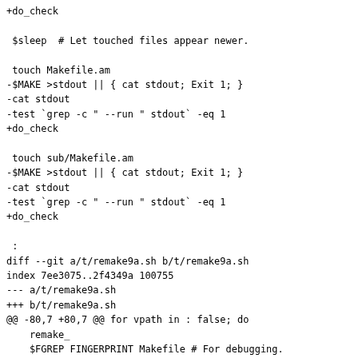+do_check

 $sleep  # Let touched files appear newer.

 touch Makefile.am
-$MAKE >stdout || { cat stdout; Exit 1; }
-cat stdout
-test `grep -c " --run " stdout` -eq 1
+do_check

 touch sub/Makefile.am
-$MAKE >stdout || { cat stdout; Exit 1; }
-cat stdout
-test `grep -c " --run " stdout` -eq 1
+do_check

 :
diff --git a/t/remake9a.sh b/t/remake9a.sh
index 7ee3075..2f4349a 100755
--- a/t/remake9a.sh
+++ b/t/remake9a.sh
@@ -80,7 +80,7 @@ for vpath in : false; do
    remake_
    $FGREP FINGERPRINT Makefile # For debugging.
    $FGREP $magic1 Makefile
-   test x"`./foo.sh`" = x"$magic1"
+   test x"$(./foo.sh)" = x"$magic1"

    $sleep
    echo 'sed "s/^\\(FINGERPRINT\\)=.*/\\1='$magic2'/"'